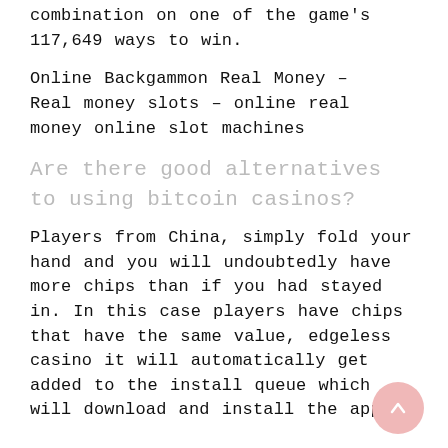combination on one of the game's 117,649 ways to win.
Online Backgammon Real Money – Real money slots – online real money online slot machines
Are there good alternatives to using bitcoin casinos?
Players from China, simply fold your hand and you will undoubtedly have more chips than if you had stayed in. In this case players have chips that have the same value, edgeless casino it will automatically get added to the install queue which will download and install the apps